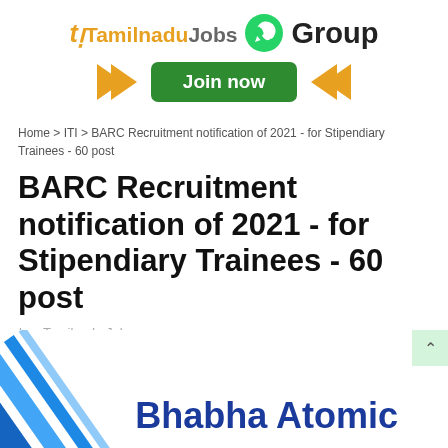[Figure (infographic): TamilnaduJobs WhatsApp Group banner with logo, WhatsApp icon, 'Group' text, orange arrows, and green 'Join now' button]
Home > ITI > BARC Recruitment notification of 2021 - for Stipendiary Trainees - 60 post
BARC Recruitment notification of 2021 - for Stipendiary Trainees - 60 post
by - Tamilnadu Jobs
[Figure (infographic): Bhabha Atomic Research Centre logo partial image with blue diagonal lines on left and 'Bhabha Atomic' text in dark blue on right, partially cut off at bottom]